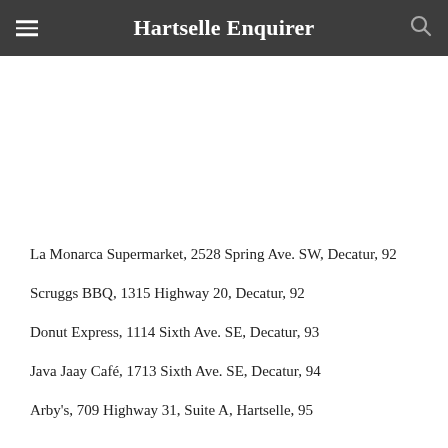Hartselle Enquirer
La Monarca Supermarket, 2528 Spring Ave. SW, Decatur, 92
Scruggs BBQ, 1315 Highway 20, Decatur, 92
Donut Express, 1114 Sixth Ave. SE, Decatur, 93
Java Jaay Café, 1713 Sixth Ave. SE, Decatur, 94
Arby's, 709 Highway 31, Suite A, Hartselle, 95